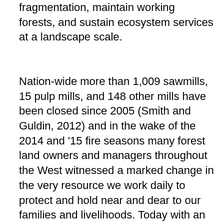fragmentation, maintain working forests, and sustain ecosystem services at a landscape scale.
Nation-wide more than 1,009 sawmills, 15 pulp mills, and 148 other mills have been closed since 2005 (Smith and Guldin, 2012) and in the wake of the 2014 and '15 fire seasons many forest land owners and managers throughout the West witnessed a marked change in the very resource we work daily to protect and hold near and dear to our families and livelihoods. Today with an ever-increasing urban population culturally removed from the functions of forestry and silviculture and an unparalleled flush of people from these areas into the wildland urban interface it is